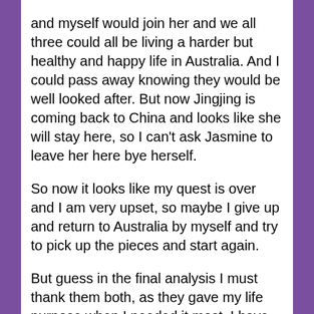and myself would join her and we all three could all be living a harder but healthy and happy life in Australia. And I could pass away knowing they would be well looked after. But now Jingjing is coming back to China and looks like she will stay here, so I can't ask Jasmine to leave her here bye herself.
So now it looks like my quest is over and I am very upset, so maybe I give up and return to Australia by myself and try to pick up the pieces and start again.
But guess in the final analysis I must thank them both, as they gave my life purpose when I needed it most. I have shown them many things, most of all Jasmine, this beautiful woman has never had much luck with the men she has chosen. But this time is a record fifteen years, before only two.
But the biggest thanks goes to Jingjing if she had not wanted to go oversea then Jasmine would